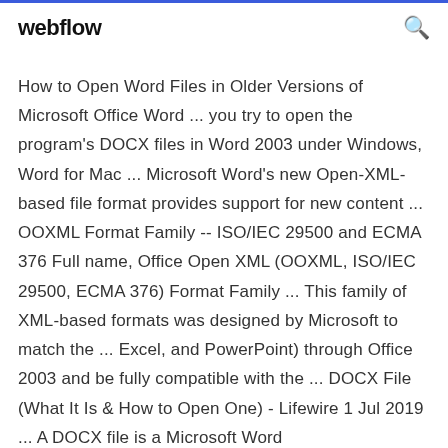webflow
How to Open Word Files in Older Versions of Microsoft Office Word ... you try to open the program's DOCX files in Word 2003 under Windows, Word for Mac ... Microsoft Word's new Open-XML-based file format provides support for new content ... OOXML Format Family -- ISO/IEC 29500 and ECMA 376 Full name, Office Open XML (OOXML, ISO/IEC 29500, ECMA 376) Format Family ... This family of XML-based formats was designed by Microsoft to match the ... Excel, and PowerPoint) through Office 2003 and be fully compatible with the ... DOCX File (What It Is & How to Open One) - Lifewire 1 Jul 2019 ... A DOCX file is a Microsoft Word